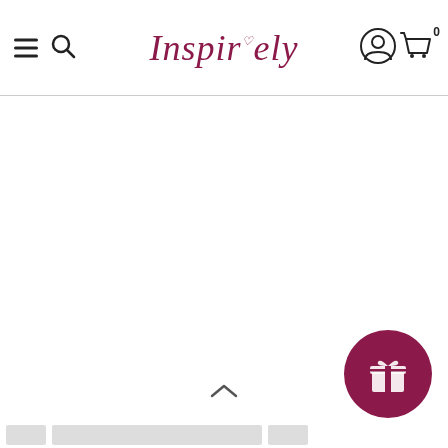Inspurely - navigation header with hamburger menu, search, logo, user account icon, and cart (0 items)
[Figure (screenshot): Blank white main content area below the header]
[Figure (other): Dark magenta circular gift/rewards button in bottom-right corner]
[Figure (other): Scroll-up chevron arrow at bottom center]
[Figure (other): Bottom thumbnail strip with three grey placeholder boxes]